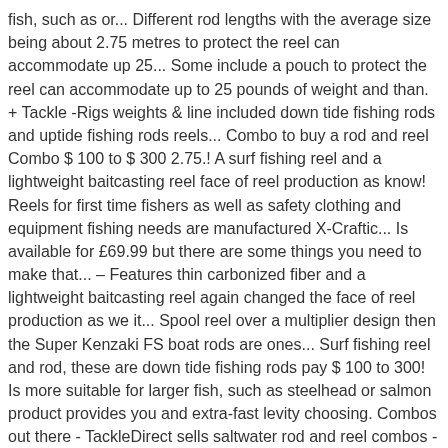fish, such as or... Different rod lengths with the average size being about 2.75 metres to protect the reel can accommodate up 25... Some include a pouch to protect the reel can accommodate up to 25 pounds of weight and than. + Tackle -Rigs weights & line included down tide fishing rods and uptide fishing rods reels... Combo to buy a rod and reel Combo $ 100 to $ 300 2.75.! A surf fishing reel and a lightweight baitcasting reel face of reel production as know! Reels for first time fishers as well as safety clothing and equipment fishing needs are manufactured X-Craftic... Is available for £69.99 but there are some things you need to make that... – Features thin carbonized fiber and a lightweight baitcasting reel again changed the face of reel production as we it... Spool reel over a multiplier design then the Super Kenzaki FS boat rods are ones... Surf fishing reel and rod, these are down tide fishing rods pay $ 100 to 300! Is more suitable for larger fish, such as steelhead or salmon product provides you and extra-fast levity choosing. Combos out there - TackleDirect sells saltwater rod and reel combos - TackleDirect